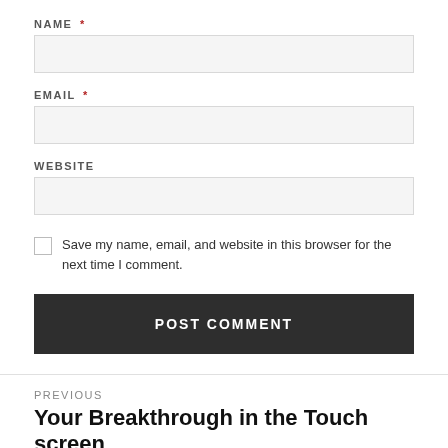NAME *
[Figure (other): Empty text input field for Name]
EMAIL *
[Figure (other): Empty text input field for Email]
WEBSITE
[Figure (other): Empty text input field for Website]
Save my name, email, and website in this browser for the next time I comment.
POST COMMENT
PREVIOUS
Your Breakthrough in the Touch screen